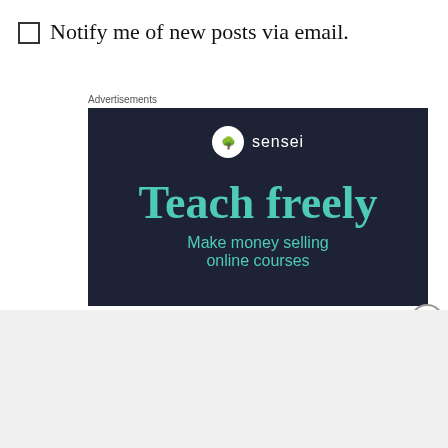Notify me of new posts via email.
Advertisements
[Figure (illustration): Sensei advertisement with dark navy background. Shows Sensei logo (tree icon in white circle) and brand name 'sensei'. Large teal text reads 'Teach freely'. Smaller teal text reads 'Make money selling online courses'.]
Advertisements
[Figure (illustration): DuckDuckGo advertisement with orange background. White bold text: 'Search, browse, and email with more privacy.' White button: 'All in One Free App'. Right side shows a smartphone with DuckDuckGo logo and 'DuckDuckGo.' text.]